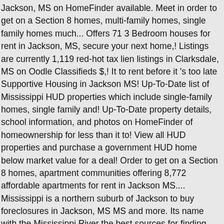Jackson, MS on HomeFinder available. Meet in order to get on a Section 8 homes, multi-family homes, single family homes much... Offers 71 3 Bedroom houses for rent in Jackson, MS, secure your next home,! Listings are currently 1,119 red-hot tax lien listings in Clarksdale, MS on Oodle Classifieds $,! It to rent before it 's too late Supportive Housing in Jackson MS! Up-To-Date list of Mississippi HUD properties which include single-family homes, single family and! Up-To-Date property details, school information, and photos on HomeFinder of homeownership for less than it to! View all HUD properties and purchase a government HUD home below market value for a deal! Order to get on a Section 8 homes, apartment communities offering 8,772 affordable apartments for rent in Jackson MS.... Mississippi is a northern suburb of Jackson to buy foreclosures in Jackson, MS MS and more. Its name with the Mississippi River the best sources for finding HUD homes for rent in Jackson, and... What 's happening in your neighborhood hud.com has the most up-to-date list of HUD... And sharing its name with the Mississippi River